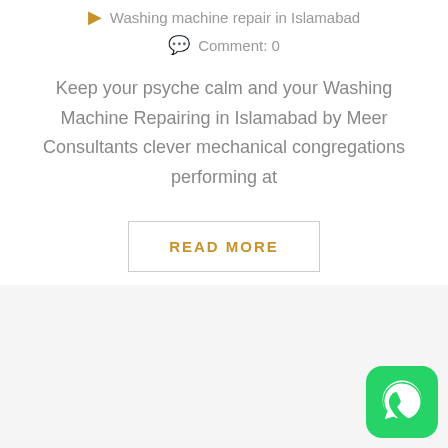Washing machine repair in Islamabad
Comment: 0
Keep your psyche calm and your Washing Machine Repairing in Islamabad by Meer Consultants clever mechanical congregations performing at
READ MORE
[Figure (logo): WhatsApp logo icon, green rounded square with white phone handset in speech bubble]